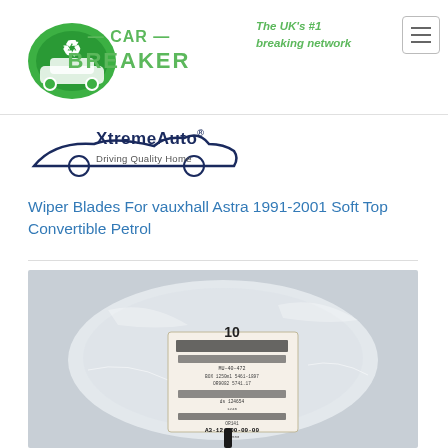[Figure (logo): Car Breaker logo with green car icon and CAR BREAKER text, tagline 'The UK's #1 breaking network']
[Figure (logo): XtremeAuto logo with sports car silhouette and 'Driving Quality Home' tagline]
Wiper Blades For vauxhall Astra 1991-2001 Soft Top Convertible Petrol
[Figure (photo): Product photo showing wiper blades in clear plastic packaging with a label tag. Label shows part number A3-12-...-00-00-00 and other product details.]